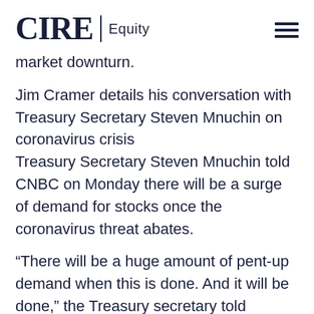CIRE | Equity
market downturn.
Jim Cramer details his conversation with Treasury Secretary Steven Mnuchin on coronavirus crisis
Treasury Secretary Steven Mnuchin told CNBC on Monday there will be a surge of demand for stocks once the coronavirus threat abates.
“There will be a huge amount of pent-up demand when this is done. And it will be done,” the Treasury secretary told CNBC’s Jim C…